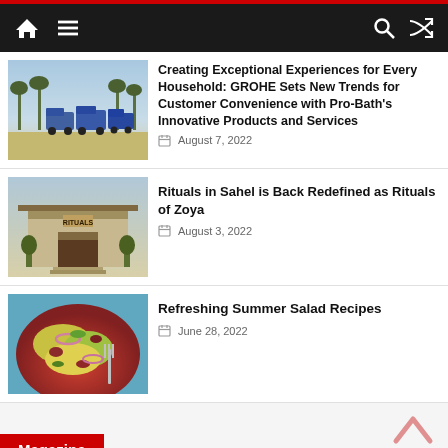Navigation bar with home, menu, search, shuffle icons
[Figure (photo): Vans/vehicles parked in a row outdoors, palm trees in background]
Creating Exceptional Experiences for Every Household: GROHE Sets New Trends for Customer Convenience with Pro-Bath's Innovative Products and Services
August 7, 2022
[Figure (photo): Rituals store/spa entrance with sign reading RITUALS and plants]
Rituals in Sahel is Back Redefined as Rituals of Zoya
August 3, 2022
[Figure (photo): Colorful summer salad in a bowl with pasta, vegetables, and onions]
Refreshing Summer Salad Recipes
June 28, 2022
Magazine